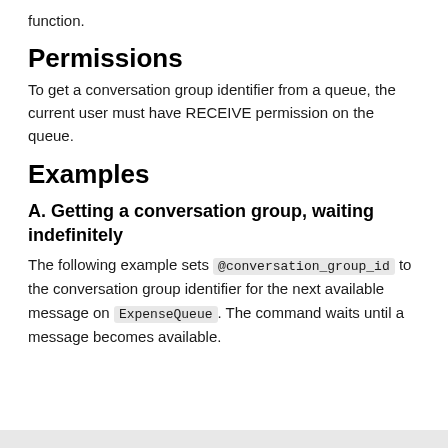function.
Permissions
To get a conversation group identifier from a queue, the current user must have RECEIVE permission on the queue.
Examples
A. Getting a conversation group, waiting indefinitely
The following example sets @conversation_group_id to the conversation group identifier for the next available message on ExpenseQueue. The command waits until a message becomes available.